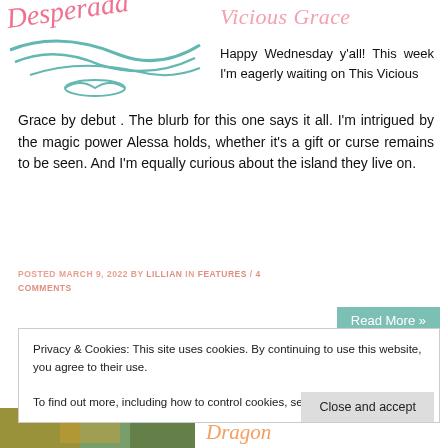[Figure (illustration): Pink and teal cursive/script decorative logo on left side header area]
Vicious Grace
Happy Wednesday y'all! This week I'm eagerly waiting on This Vicious Grace by debut . The blurb for this one says it all. I'm intrigued by the magic power Alessa holds, whether it's a gift or curse remains to be seen. And I'm equally curious about the island they live on.
POSTED MARCH 9, 2022 BY LILLIAN IN FEATURES / 4 COMMENTS
Read More »
Privacy & Cookies: This site uses cookies. By continuing to use this website, you agree to their use.
To find out more, including how to control cookies, see here: Cookie Policy
Close and accept
[Figure (photo): Bottom strip showing a partial image on the left]
Dragon